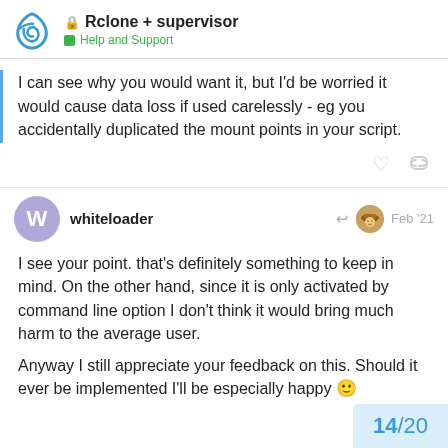Rclone + supervisor / Help and Support
I can see why you would want it, but I'd be worried it would cause data loss if used carelessly - eg you accidentally duplicated the mount points in your script.
whiteloader  Feb '21
I see your point. that's definitely something to keep in mind. On the other hand, since it is only activated by command line option I don't think it would bring much harm to the average user.
Anyway I still appreciate your feedback on this. Should it ever be implemented I'll be especially happy 🙂
14 / 20